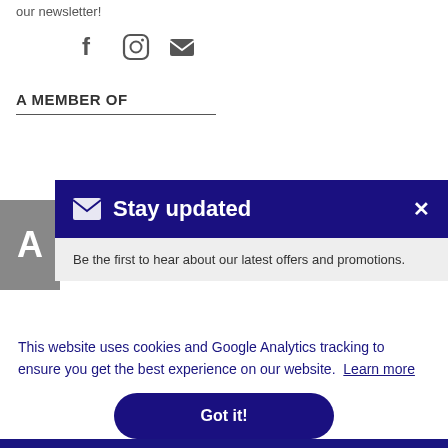our newsletter!
[Figure (infographic): Social media icons: Facebook, Instagram, Email/envelope]
A MEMBER OF
[Figure (logo): Grey block with white letter A logo]
[Figure (screenshot): Stay updated modal dialog with dark blue header showing envelope icon, title 'Stay updated', close X button, and subtext 'Be the first to hear about our latest offers and promotions.']
This website uses cookies and Google Analytics tracking to ensure you get the best experience on our website. Learn more
Got it!
RIBE
igital.